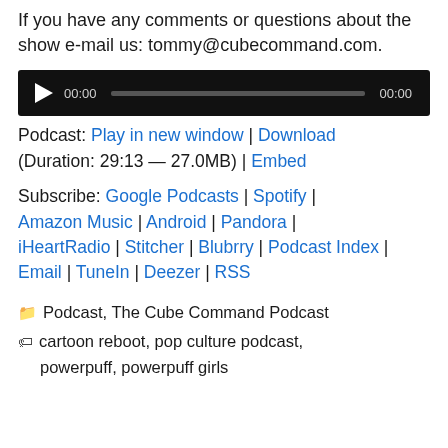If you have any comments or questions about the show e-mail us: tommy@cubecommand.com.
[Figure (other): Audio player with play button, time display 00:00, progress bar, and end time 00:00 on a black background]
Podcast: Play in new window | Download (Duration: 29:13 — 27.0MB) | Embed
Subscribe: Google Podcasts | Spotify | Amazon Music | Android | Pandora | iHeartRadio | Stitcher | Blubrry | Podcast Index | Email | TuneIn | Deezer | RSS
Categories: Podcast, The Cube Command Podcast
Tags: cartoon reboot, pop culture podcast, powerpuff, powerpuff girls